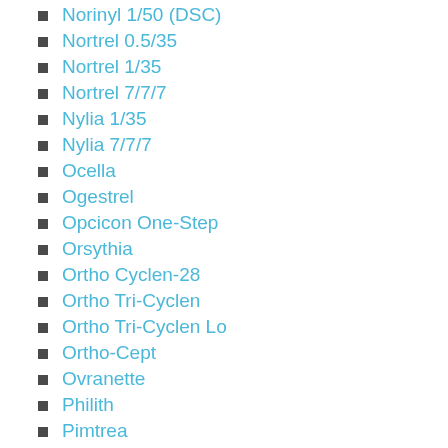Norinyl 1/50 (DSC)
Nortrel 0.5/35
Nortrel 1/35
Nortrel 7/7/7
Nylia 1/35
Nylia 7/7/7
Ocella
Ogestrel
Opcicon One-Step
Orsythia
Ortho Cyclen-28
Ortho Tri-Cyclen
Ortho Tri-Cyclen Lo
Ortho-Cept
Ovranette
Philith
Pimtrea
Pirmella 1/35
Pirmella 7/7/7